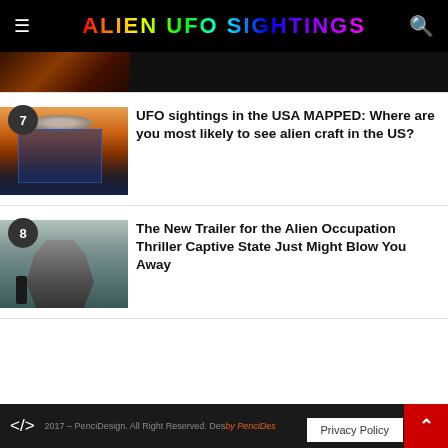ALIEN UFO SIGHTINGS
[Figure (photo): Partial view of a city/night sky article thumbnail at the top]
7  UFO sightings in the USA MAPPED: Where are you most likely to see alien craft in the US?
[Figure (photo): Article 7 thumbnail: UFO silhouette over orange sunset with blue digital screen overlay]
8  The New Trailer for the Alien Occupation Thriller Captive State Just Might Blow You Away
[Figure (photo): Article 8 thumbnail: Mech/robot figure in foggy scene with small human figure]
2017 – PenciDesign. All Right Reserved. Designed by PenciDesign